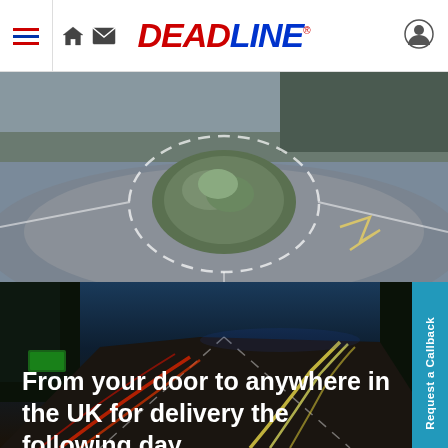Deadline - navigation bar with hamburger menu, home icon, mail icon, DEADLINE logo, user icon
[Figure (photo): Aerial view of a roundabout with green vegetation in the center, surrounded by roads with white lane markings, set against a forest background]
[Figure (photo): Long-exposure night photo of a motorway showing red and yellow light trails from vehicles, with tree-lined sides and a blue twilight sky. A 'Request a Callback' button overlay on the right side.]
From your door to anywhere in the UK for delivery the following day.